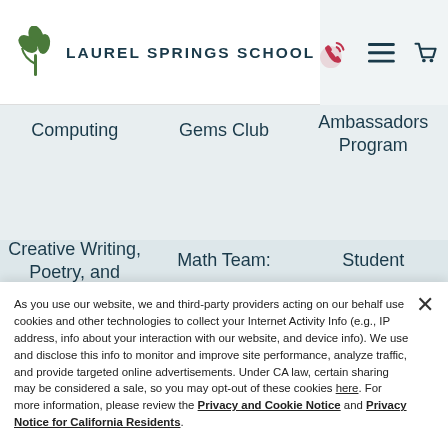LAUREL SPRINGS SCHOOL
Computing | Gems Club | Ambassadors Program
Creative Writing, Poetry, and | Math Team: | Student
As you use our website, we and third-party providers acting on our behalf use cookies and other technologies to collect your Internet Activity Info (e.g., IP address, info about your interaction with our website, and device info). We use and disclose this info to monitor and improve site performance, analyze traffic, and provide targeted online advertisements. Under CA law, certain sharing may be considered a sale, so you may opt-out of these cookies here. For more information, please review the Privacy and Cookie Notice and Privacy Notice for California Residents.